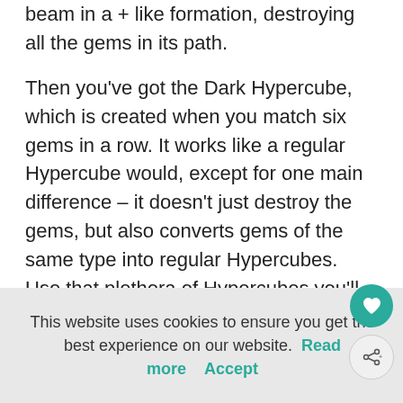beam in a + like formation, destroying all the gems in its path.
Then you've got the Dark Hypercube, which is created when you match six gems in a row. It works like a regular Hypercube would, except for one main difference – it doesn't just destroy the gems, but also converts gems of the same type into regular Hypercubes. Use that plethora of Hypercubes you'll get to clear levels faster, and with less moves.
This website uses cookies to ensure you get the best experience on our website. Read more    Accept